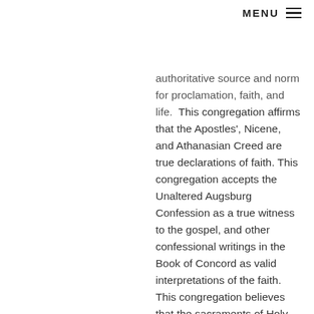MENU ☰
authoritative source and norm for proclamation, faith, and life. This congregation affirms that the Apostles', Nicene, and Athanasian Creed are true declarations of faith. This congregation accepts the Unaltered Augsburg Confession as a true witness to the gospel, and other confessional writings in the Book of Concord as valid interpretations of the faith. This congregation believes that the sacraments of Holy Baptism and Holy Communion, instituted by Christ, are means of grace - means whereby Christ encounters us, means whereby Christ gives us reconciliation,